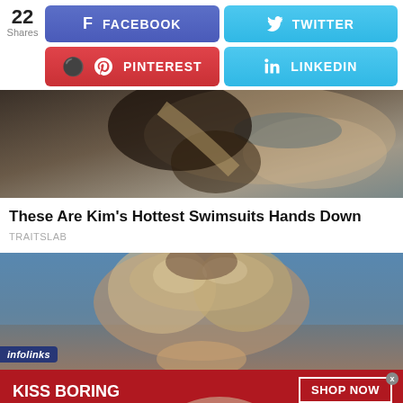[Figure (infographic): Social share bar with 22 shares count, Facebook (blue), Twitter (light blue), Pinterest (red), LinkedIn (light blue) buttons]
[Figure (photo): Cropped photo of a woman in a grey swimsuit lying down]
These Are Kim's Hottest Swimsuits Hands Down
TRAITSLAB
[Figure (photo): Photo of a woman with wavy blonde hair against blue background]
[Figure (infographic): Advertisement banner: KISS BORING LIPS GOODBYE with SHOP NOW button and Macy's logo, red background with model photo]